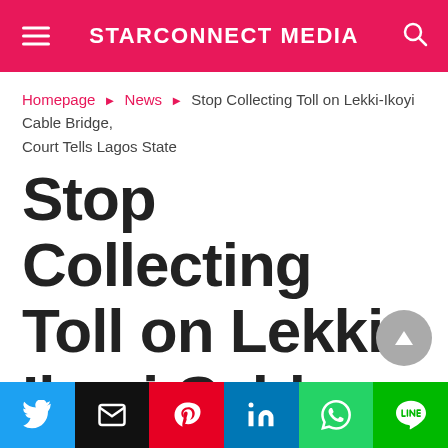STARCONNECT MEDIA
Homepage ▸ News ▸ Stop Collecting Toll on Lekki-Ikoyi Cable Bridge, Court Tells Lagos State
Stop Collecting Toll on Lekki-Ikoyi Cable Bridge, Court Tells Lagos State